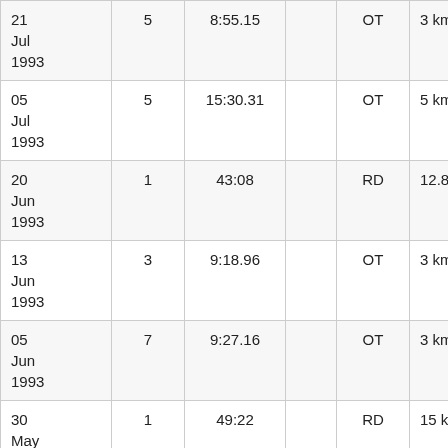| Date | Pos | Time |  | Type | Distance | ... |
| --- | --- | --- | --- | --- | --- | --- |
| 21 Jul 1993 | 5 | 8:55.15 |  | OT | 3 km | N |
| 05 Jul 1993 | 5 | 15:30.31 |  | OT | 5 km | S S |
| 20 Jun 1993 | 1 | 43:08 |  | RD | 12.8 km | R |
| 13 Jun 1993 | 3 | 9:18.96 |  | OT | 3 km | R N |
| 05 Jun 1993 | 7 | 9:27.16 |  | OT | 3 km | L |
| 30 May 1993 | 1 | 49:22 |  | RD | 15 km | L R |